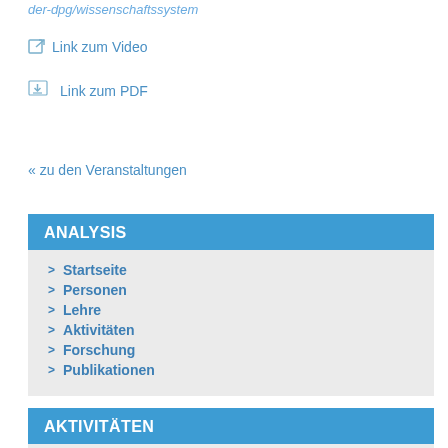der-dpg/wissenschaftssystem
🔗 Link zum Video
⬇ Link zum PDF
« zu den Veranstaltungen
ANALYSIS
> Startseite
> Personen
> Lehre
> Aktivitäten
> Forschung
> Publikationen
AKTIVITÄTEN